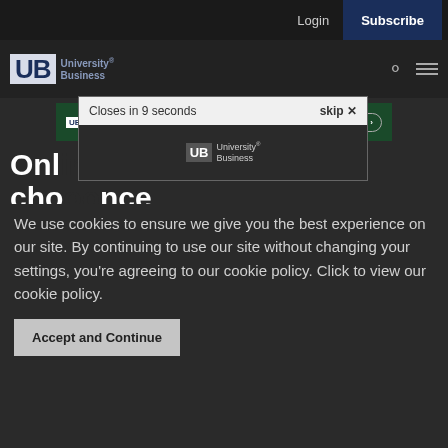Login | Subscribe
[Figure (logo): University Business logo with UB initials and full name]
[Figure (screenshot): Web Seminar Resource Center advertisement banner with View Now button]
[Figure (screenshot): Popup overlay with 'Closes in 9 seconds' bar, skip button, and University Business logo]
Onl... ...nds cho... ...nce
We use cookies to ensure we give you the best experience on our site. By continuing to use our site without changing your settings, you're agreeing to our cookie policy. Click to view our cookie policy.
Accept and Continue